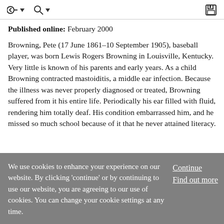Published online: February 2000
Browning, Pete (17 June 1861–10 September 1905), baseball player, was born Lewis Rogers Browning in Louisville, Kentucky. Very little is known of his parents and early years. As a child Browning contracted mastoiditis, a middle ear infection. Because the illness was never properly diagnosed or treated, Browning suffered from it his entire life. Periodically his ear filled with fluid, rendering him totally deaf. His condition embarrassed him, and he missed so much school because of it that he never attained literacy.
We use cookies to enhance your experience on our website. By clicking 'continue' or by continuing to use our website, you are agreeing to our use of cookies. You can change your cookie settings at any time.